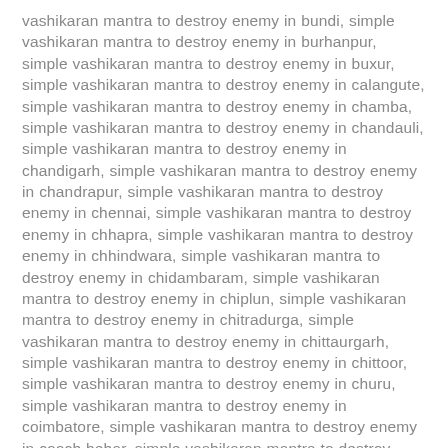vashikaran mantra to destroy enemy in bundi, simple vashikaran mantra to destroy enemy in burhanpur, simple vashikaran mantra to destroy enemy in buxur, simple vashikaran mantra to destroy enemy in calangute, simple vashikaran mantra to destroy enemy in chamba, simple vashikaran mantra to destroy enemy in chandauli, simple vashikaran mantra to destroy enemy in chandigarh, simple vashikaran mantra to destroy enemy in chandrapur, simple vashikaran mantra to destroy enemy in chennai, simple vashikaran mantra to destroy enemy in chhapra, simple vashikaran mantra to destroy enemy in chhindwara, simple vashikaran mantra to destroy enemy in chidambaram, simple vashikaran mantra to destroy enemy in chiplun, simple vashikaran mantra to destroy enemy in chitradurga, simple vashikaran mantra to destroy enemy in chittaurgarh, simple vashikaran mantra to destroy enemy in chittoor, simple vashikaran mantra to destroy enemy in churu, simple vashikaran mantra to destroy enemy in coimbatore, simple vashikaran mantra to destroy enemy in cooch behar, simple vashikaran mantra to destroy enemy in cuddapah, simple